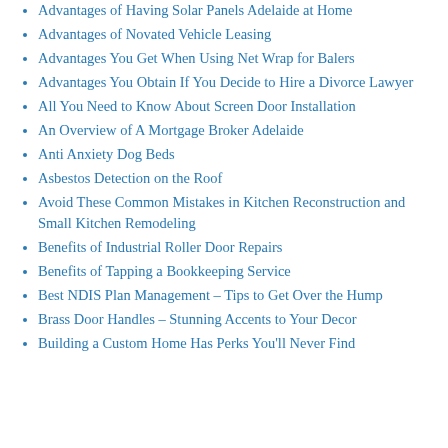Advantages of Having Solar Panels Adelaide at Home
Advantages of Novated Vehicle Leasing
Advantages You Get When Using Net Wrap for Balers
Advantages You Obtain If You Decide to Hire a Divorce Lawyer
All You Need to Know About Screen Door Installation
An Overview of A Mortgage Broker Adelaide
Anti Anxiety Dog Beds
Asbestos Detection on the Roof
Avoid These Common Mistakes in Kitchen Reconstruction and Small Kitchen Remodeling
Benefits of Industrial Roller Door Repairs
Benefits of Tapping a Bookkeeping Service
Best NDIS Plan Management – Tips to Get Over the Hump
Brass Door Handles – Stunning Accents to Your Decor
Building a Custom Home Has Perks You'll Never Find